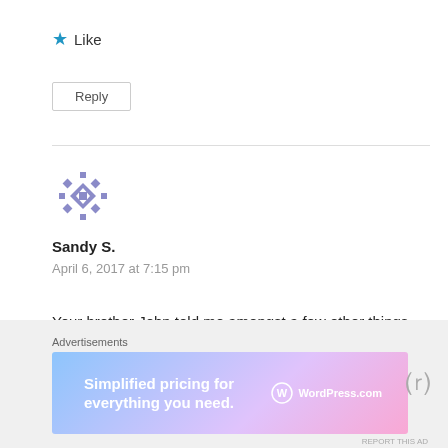★ Like
Reply
[Figure (illustration): Purple geometric avatar icon for user Sandy S.]
Sandy S.
April 6, 2017 at 7:15 pm
Your brother John told me amongst a few other things about that night. Remember, I told you way back...:)
Advertisements
[Figure (screenshot): WordPress.com advertisement banner: Simplified pricing for everything you need.]